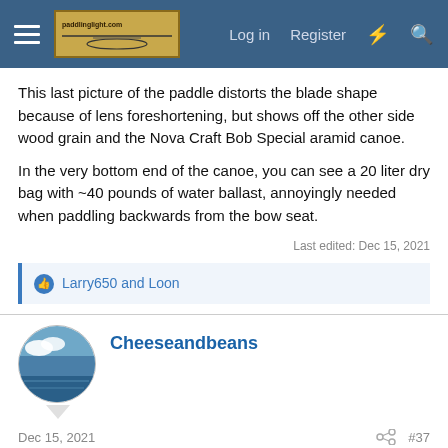Forum navigation bar with hamburger menu, logo, Log in, Register buttons
This last picture of the paddle distorts the blade shape because of lens foreshortening, but shows off the other side wood grain and the Nova Craft Bob Special aramid canoe.
In the very bottom end of the canoe, you can see a 20 liter dry bag with ~40 pounds of water ballast, annoyingly needed when paddling backwards from the bow seat.
Last edited: Dec 15, 2021
Larry650 and Loon
Cheeseandbeans
Dec 15, 2021  #37
Really gorgeous paddle.